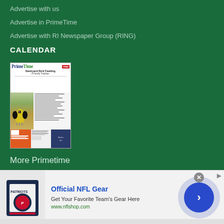Advertise with us
Advertise in PrimeTime
Advertise with RI Newspaper Group (RING)
CALENDAR
[Figure (photo): Magazine cover of PrimeTime showing Backyard Bird Feeding - A Family Tradition, with a yellow finch bird on the left and article text on the right, plus advertisements at the bottom]
More Primetime
[Figure (infographic): Advertisement for Official NFL Gear showing Patriots jersey with text 'Get Your Favorite Team's Gear Here' and url www.nflshop.com, with a blue circular arrow button on the right and a close X button]